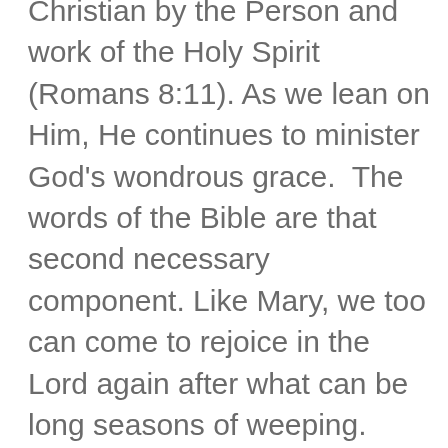Christian by the Person and work of the Holy Spirit (Romans 8:11). As we lean on Him, He continues to minister God's wondrous grace.  The words of the Bible are that second necessary component. Like Mary, we too can come to rejoice in the Lord again after what can be long seasons of weeping. Whenever we have wept, the rejoicing is all the better. All the sweeter. That wonderful resurrection power is ever available. Let's listen for the voice of Jesus as He speaks to us in His Word.